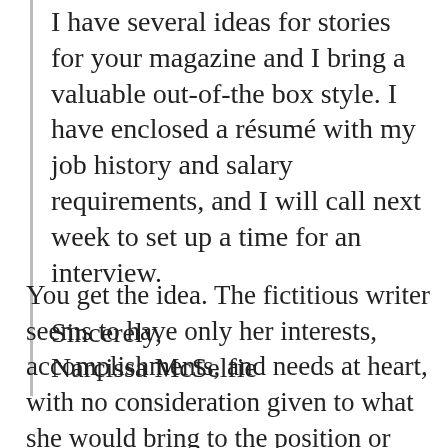I have several ideas for stories for your magazine and I bring a valuable out-of-the box style. I have enclosed a résumé with my job history and salary requirements, and I will call next week to set up a time for an interview.
Sincerely,
Narcissa McSelfie
You get the idea. The fictitious writer seems to have only her interests, accomplishments, and needs at heart, with no consideration given to what she would bring to the position or organization. And there are a lot of I pronouns: I'm applying, I'm a great fit, I've excelled, I enjoy, and so on. Such letters are often quickly dismissed, filed away with a rueful smile and a shake of the head. But does the heavy use of the first-